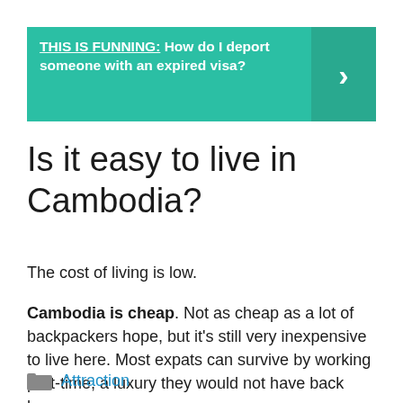[Figure (infographic): Teal banner with text 'THIS IS FUNNING: How do I deport someone with an expired visa?' and a right-arrow chevron on the right side]
Is it easy to live in Cambodia?
The cost of living is low.
Cambodia is cheap. Not as cheap as a lot of backpackers hope, but it's still very inexpensive to live here. Most expats can survive by working part-time, a luxury they would not have back home.
Attraction